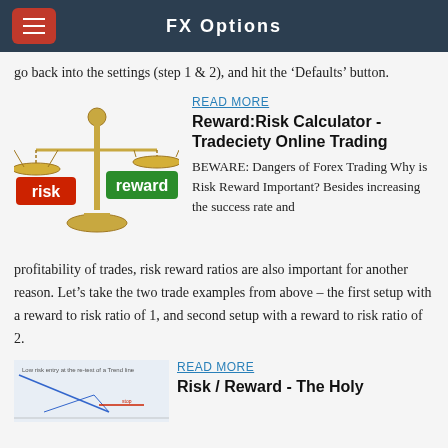FX Options
go back into the settings (step 1 & 2), and hit the ‘Defaults’ button.
READ MORE
Reward:Risk Calculator - Tradeciety Online Trading
BEWARE: Dangers of Forex Trading Why is Risk Reward Important? Besides increasing the success rate and profitability of trades, risk reward ratios are also important for another reason. Let’s take the two trade examples from above – the first setup with a reward to risk ratio of 1, and second setup with a reward to risk ratio of 2.
[Figure (illustration): A balance scale with 'risk' on a red sign and 'reward' on a green sign, representing risk-reward concept.]
READ MORE
Risk / Reward - The Holy
[Figure (illustration): A financial chart showing a trendline test entry, partially visible at the bottom of the page.]